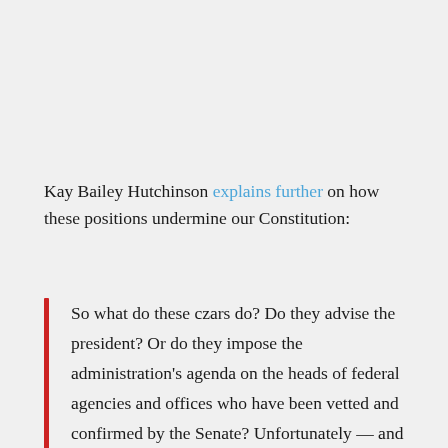Kay Bailey Hutchinson explains further on how these positions undermine our Constitution:
So what do these czars do? Do they advise the president? Or do they impose the administration's agenda on the heads of federal agencies and offices who have been vetted and confirmed by the Senate? Unfortunately — and in direct